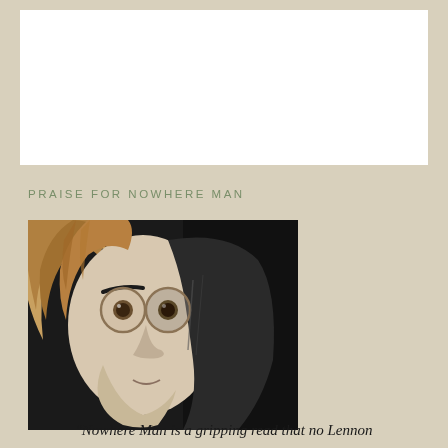[Figure (illustration): White rectangular box at top of page]
PRAISE FOR NOWHERE MAN
[Figure (illustration): Stylized comic-book illustration portrait of John Lennon with round glasses, long hair, half face in shadow against black background]
"Nowhere Man is a gripping read that no Lennon